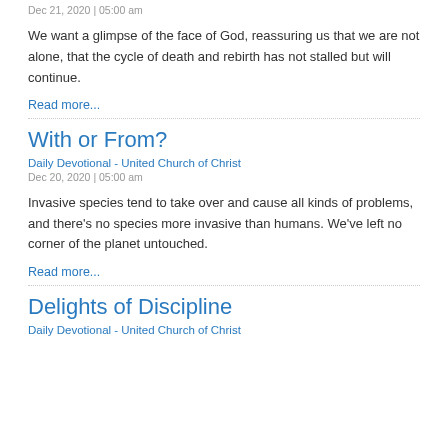Dec 21, 2020 | 05:00 am
We want a glimpse of the face of God, reassuring us that we are not alone, that the cycle of death and rebirth has not stalled but will continue.
Read more...
With or From?
Daily Devotional - United Church of Christ
Dec 20, 2020 | 05:00 am
Invasive species tend to take over and cause all kinds of problems, and there’s no species more invasive than humans. We’ve left no corner of the planet untouched.
Read more...
Delights of Discipline
Daily Devotional - United Church of Christ